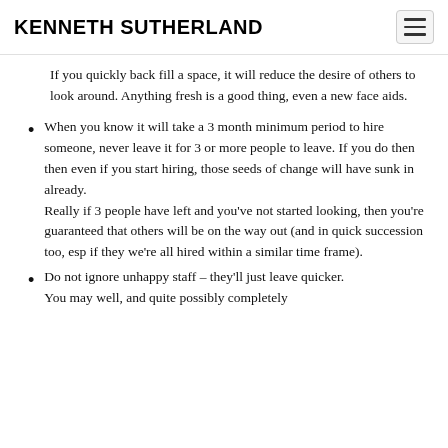KENNETH SUTHERLAND
If you quickly back fill a space, it will reduce the desire of others to look around. Anything fresh is a good thing, even a new face aids.
When you know it will take a 3 month minimum period to hire someone, never leave it for 3 or more people to leave. If you do then then even if you start hiring, those seeds of change will have sunk in already.
Really if 3 people have left and you've not started looking, then you're guaranteed that others will be on the way out (and in quick succession too, esp if they we're all hired within a similar time frame).
Do not ignore unhappy staff – they'll just leave quicker.
You may well, and quite possibly completely